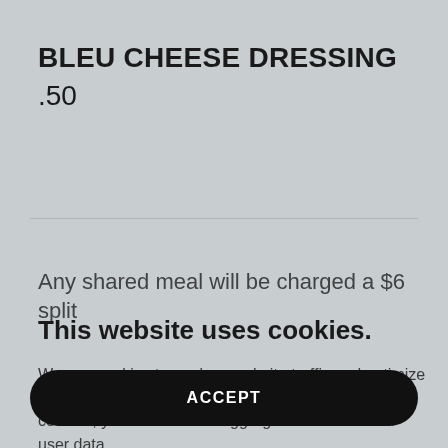BLEU CHEESE DRESSING
.50
Any shared meal will be charged a $6 split
This website uses cookies.
We use cookies to analyze website traffic and optimize your website experience. By accepting our use of cookies, your data will be aggregated with all other user data.
ACCEPT